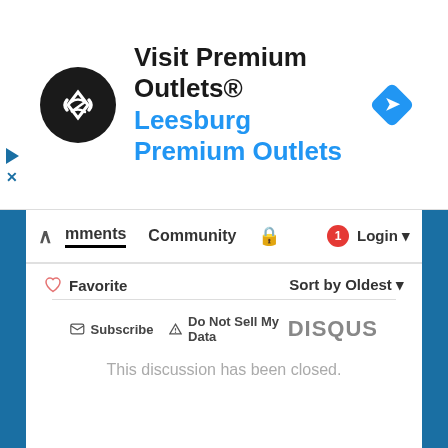[Figure (screenshot): Advertisement banner for Premium Outlets with black circular logo with arrow symbol, text 'Visit Premium Outlets®' and 'Leesburg Premium Outlets' in blue, and a blue diamond navigation icon]
[Figure (screenshot): Disqus comment section interface showing navigation bar with Comments, Community, lock icon, notification badge (1), and Login. Below shows Favorite button, Sort by Oldest dropdown, 'This discussion has been closed.' message, Subscribe and Do Not Sell My Data links, and DISQUS logo]